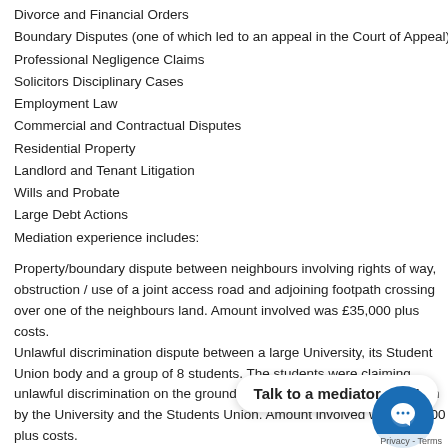Divorce and Financial Orders
Boundary Disputes (one of which led to an appeal in the Court of Appeal)
Professional Negligence Claims
Solicitors Disciplinary Cases
Employment Law
Commercial and Contractual Disputes
Residential Property
Landlord and Tenant Litigation
Wills and Probate
Large Debt Actions
Mediation experience includes:
Property/boundary dispute between neighbours involving rights of way, obstruction / use of a joint access road and adjoining footpath crossing over one of the neighbours land. Amount involved was £35,000 plus costs. Unlawful discrimination dispute between a large University, its Student Union body and a group of 8 students. The students were claiming unlawful discrimination on the grounds of race/religion and victimisation by the University and the Students Union. Amount involved was £80,000 plus costs. Commercial dispute between directors of a c agreements, payments that had not been agr terms of directors agreement and other issues. Amount involved was £50,000 plus costs Probate disputes between siblings over inheritance and contents d Amounts involved were from £60,000 to £800,000 plus costs Divorce and ancillary relief claim concerning the assets of the marria Amount involved was £500,000 plus costs